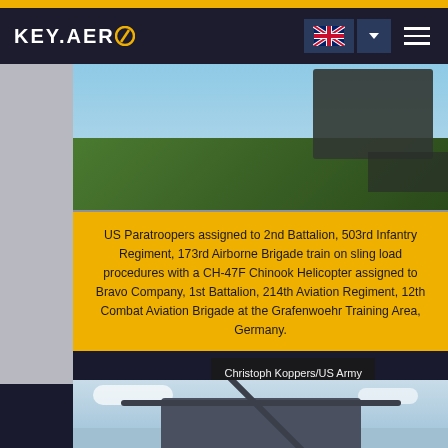KEY.AERO
[Figure (photo): US Army military vehicle on a hillside with trees in background, partial view from above]
US Paratroopers assigned to 2nd Battalion, 503rd Infantry Regiment, 173rd Airborne Brigade train on sling load procedures with a CH-47F Chinook Helicopter assigned to Bravo Company, 1st Battalion, 214th Aviation Regiment, 12th Combat Aviation Brigade at the Grafenwoehr Training Area, Germany.
Christoph Koppers/US Army
[Figure (photo): CH-47 Chinook helicopter viewed from below against cloudy sky]